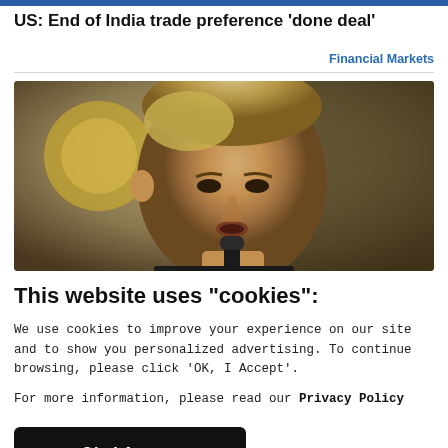US: End of India trade preference 'done deal'
Financial Markets
[Figure (photo): Close-up photograph of a person speaking at a microphone, with blurred background showing gold/brown tones]
This website uses "cookies":
We use cookies to improve your experience on our site and to show you personalized advertising. To continue browsing, please click 'OK, I Accept'.
For more information, please read our Privacy Policy
Ok, I Accept